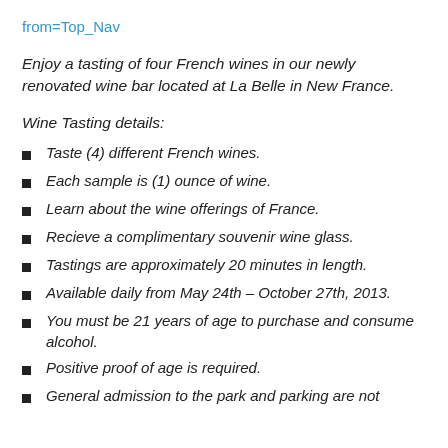from=Top_Nav
Enjoy a tasting of four French wines in our newly renovated wine bar located at La Belle in New France.
Wine Tasting details:
Taste (4) different French wines.
Each sample is (1) ounce of wine.
Learn about the wine offerings of France.
Recieve a complimentary souvenir wine glass.
Tastings are approximately 20 minutes in length.
Available daily from May 24th – October 27th, 2013.
You must be 21 years of age to purchase and consume alcohol.
Positive proof of age is required.
General admission to the park and parking are not included and are not the…